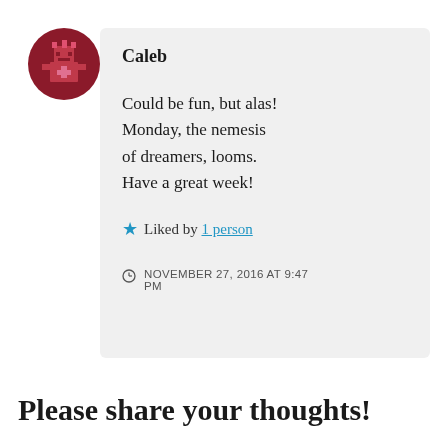[Figure (illustration): Circular avatar with dark red/maroon background showing a pixel-art game character in pink/red]
Caleb
Could be fun, but alas! Monday, the nemesis of dreamers, looms. Have a great week!
★ Liked by 1 person
NOVEMBER 27, 2016 AT 9:47 PM
Please share your thoughts!